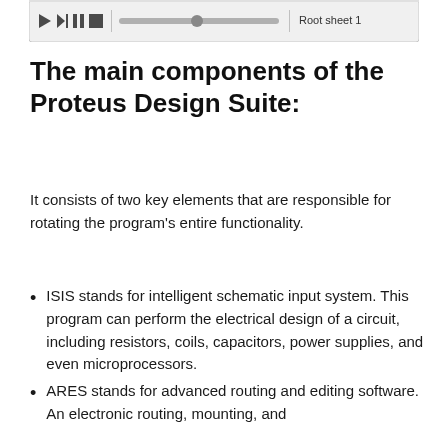[Figure (screenshot): Toolbar/control bar UI screenshot showing playback and simulation controls with buttons and a label 'Root sheet 1']
The main components of the Proteus Design Suite:
It consists of two key elements that are responsible for rotating the program's entire functionality.
ISIS stands for intelligent schematic input system. This program can perform the electrical design of a circuit, including resistors, coils, capacitors, power supplies, and even microprocessors.
ARES stands for advanced routing and editing software. An electronic routing, mounting, and